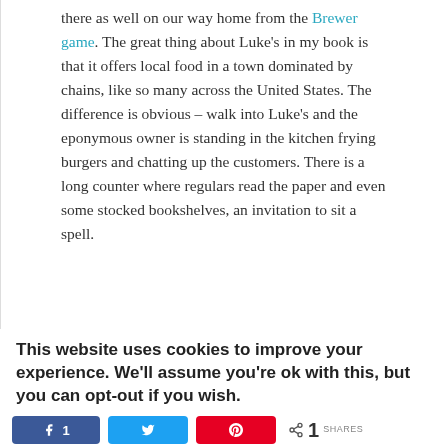there as well on our way home from the Brewer game. The great thing about Luke's in my book is that it offers local food in a town dominated by chains, like so many across the United States. The difference is obvious – walk into Luke's and the eponymous owner is standing in the kitchen frying burgers and chatting up the customers. There is a long counter where regulars read the paper and even some stocked bookshelves, an invitation to sit a spell.
[Figure (photo): Interior of Luke's restaurant showing hanging pendant lights over a counter, framed pictures on the wall, and a view toward the entrance door with daylight visible.]
This website uses cookies to improve your experience. We'll assume you're ok with this, but you can opt-out if you wish.
Share buttons: Facebook 1, Twitter, Pinterest. 1 SHARES